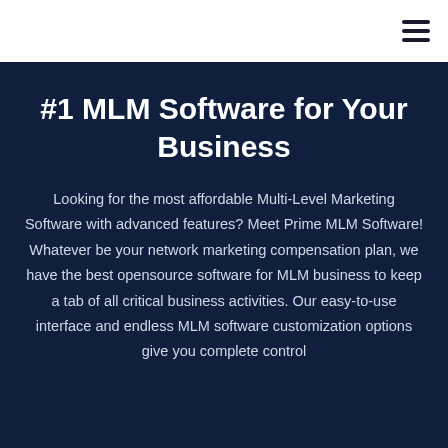#1 MLM Software for Your Business
Looking for the most affordable Multi-Level Marketing Software with advanced features? Meet Prime MLM Software! Whatever be your network marketing compensation plan, we have the best opensource software for MLM business to keep a tab of all critical business activities. Our easy-to-use interface and endless MLM software customization options give you complete control